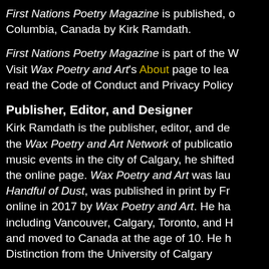First Nations Poetry Magazine is published, out of British Columbia, Canada by Kirk Ramdath.
First Nations Poetry Magazine is part of the Wax Poetry and Art Network. Visit Wax Poetry and Art's About page to learn more and read the Code of Conduct and Privacy Policy.
Publisher, Editor, and Designer
Kirk Ramdath is the publisher, editor, and designer of the Wax Poetry and Art Network of publications. After organizing music events in the city of Calgary, he shifted his focus to the online page. Wax Poetry and Art was launched after his first book, Handful of Dust, was published in print by Front Row Lit and online in 2017 by Wax Poetry and Art. He has lived in many cities including Vancouver, Calgary, Toronto, and Halifax. He was born in Trinidad and moved to Canada at the age of 10. He holds an MBA with Distinction from the University of Calgary.